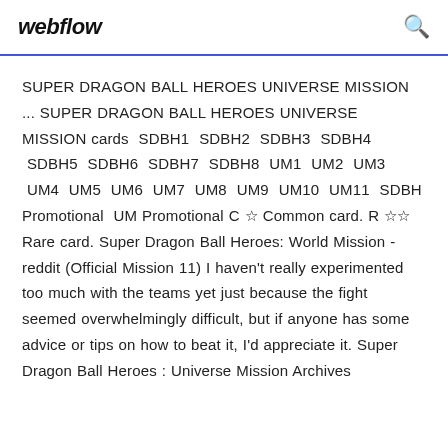webflow
SUPER DRAGON BALL HEROES UNIVERSE MISSION ... SUPER DRAGON BALL HEROES UNIVERSE MISSION cards  SDBH1  SDBH2  SDBH3  SDBH4  SDBH5  SDBH6  SDBH7  SDBH8  UM1  UM2  UM3  UM4  UM5  UM6  UM7  UM8  UM9  UM10  UM11  SDBH Promotional  UM Promotional C ☆ Common card. R ☆☆ Rare card. Super Dragon Ball Heroes: World Mission - reddit (Official Mission 11) I haven't really experimented too much with the teams yet just because the fight seemed overwhelmingly difficult, but if anyone has some advice or tips on how to beat it, I'd appreciate it. Super Dragon Ball Heroes : Universe Mission Archives